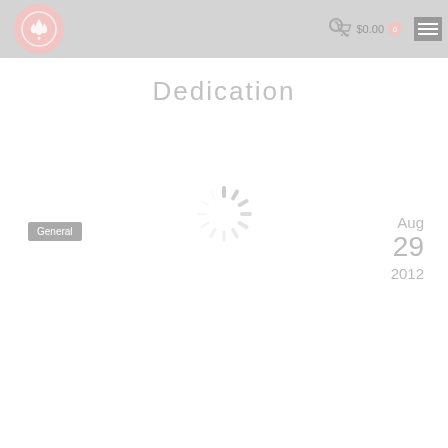Logo | Search | $0.00 0 | Menu
Dedication
[Figure (illustration): Loading spinner animation (circular dashed spokes in light gray)]
General
Aug 29 2012